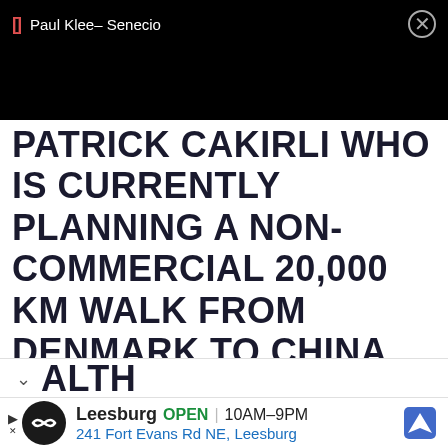Paul Klee- Senecio
PATRICK CAKIRLI WHO IS CURRENTLY PLANNING A NON-COMMERCIAL 20,000 KM WALK FROM DENMARK TO CHINA TO RAISE AWARENESS ABOUT LONELINESS AND MENTAL HEALTH
[Figure (screenshot): Advertisement bar showing Leesburg store info: OPEN 10AM-9PM, 241 Fort Evans Rd NE, Leesburg, with circular logo and navigation icon]